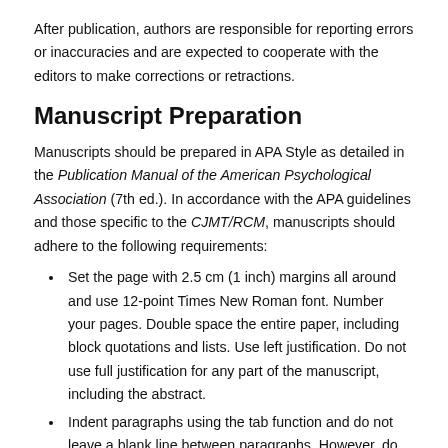After publication, authors are responsible for reporting errors or inaccuracies and are expected to cooperate with the editors to make corrections or retractions.
Manuscript Preparation
Manuscripts should be prepared in APA Style as detailed in the Publication Manual of the American Psychological Association (7th ed.). In accordance with the APA guidelines and those specific to the CJMT/RCM, manuscripts should adhere to the following requirements:
Set the page with 2.5 cm (1 inch) margins all around and use 12-point Times New Roman font. Number your pages. Double space the entire paper, including block quotations and lists. Use left justification. Do not use full justification for any part of the manuscript, including the abstract.
Indent paragraphs using the tab function and do not leave a blank line between paragraphs. However, do not use tabs in the reference list; use the built-in hanging indent function